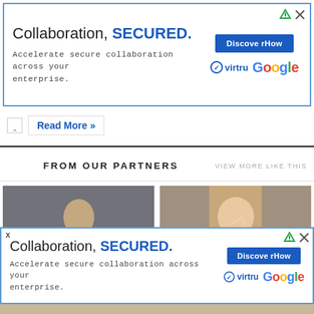[Figure (screenshot): Advertisement banner: 'Collaboration, SECURED.' with Virtru and Google branding, Discover How button, blue border]
Read More »
[Figure (screenshot): Two partner content cards: 'Everything We Know About Harry Styles' New' and '"Trader Joe's Karen" Has Meltdown After Being' with thumbnail images]
[Figure (screenshot): Bottom advertisement banner: 'Collaboration, SECURED.' with Virtru and Google branding, Discover How button, blue border]